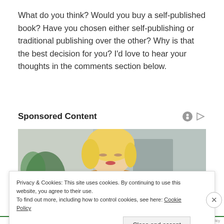What do you think? Would you buy a self-published book? Have you chosen either self-publishing or traditional publishing over the other? Why is that the best decision for you? I'd love to hear your thoughts in the comments section below.
Sponsored Content
[Figure (photo): A blonde woman wearing a yellow sweater looking downward, with a green plant in the background]
Privacy & Cookies: This site uses cookies. By continuing to use this website, you agree to their use.
To find out more, including how to control cookies, see here: Cookie Policy
Close and accept